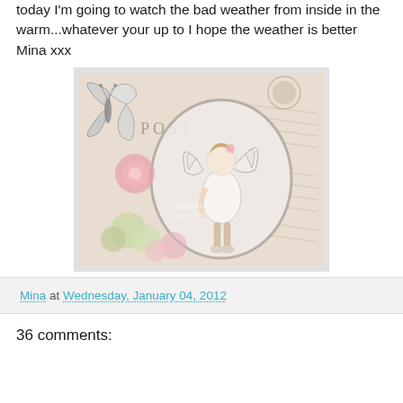today I'm going to watch the bad weather from inside in the warm...whatever your up to I hope the weather is better Mina xxx
[Figure (illustration): A crafted card or artwork featuring a fairy girl in a white dress with wings, seated among flowers including pink roses and green blooms. A large butterfly is in the upper left. Background has vintage postcard texture with 'POST' text and cursive writing. An oval frame surrounds the fairy. A watermark reads 'Mumma' and 'Champaca Designs' or similar.]
Mina at Wednesday, January 04, 2012
36 comments: